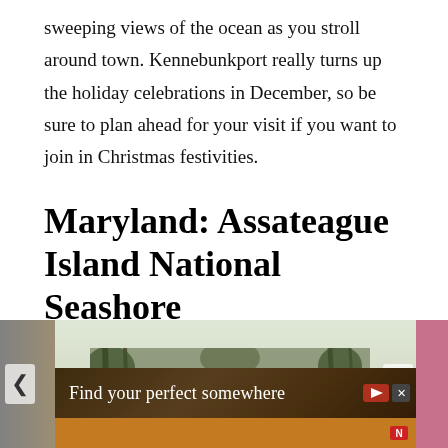sweeping views of the ocean as you stroll around town. Kennebunkport really turns up the holiday celebrations in December, so be sure to plan ahead for your visit if you want to join in Christmas festivities.
Maryland: Assateague Island National Seashore
[Figure (photo): A white horse standing in a snowy wooded area at Assateague Island National Seashore, with trees in the background. The image is part of a slideshow with navigation arrows on left and right sides. An advertisement banner overlay at the bottom reads 'Find your perfect somewhere'.]